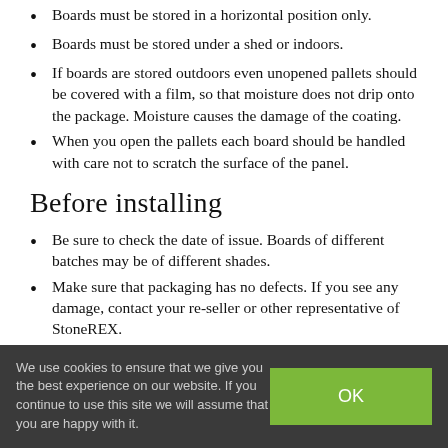Boards must be stored in a horizontal position only.
Boards must be stored under a shed or indoors.
If boards are stored outdoors even unopened pallets should be covered with a film, so that moisture does not drip onto the package. Moisture causes the damage of the coating.
When you open the pallets each board should be handled with care not to scratch the surface of the panel.
Before installing
Be sure to check the date of issue. Boards of different batches may be of different shades.
Make sure that packaging has no defects. If you see any damage, contact your re-seller or other representative of StoneREX.
We use cookies to ensure that we give you the best experience on our website. If you continue to use this site we will assume that you are happy with it.